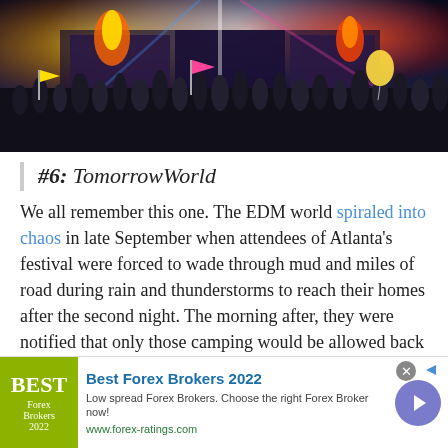[Figure (photo): Concert photo showing a large crowd at an outdoor music festival with a bright stage backdrop featuring flames and colorful lighting, crowd with hands raised, colorful flags and balloons visible]
#6: TomorrowWorld
We all remember this one. The EDM world spiraled into chaos in late September when attendees of Atlanta's festival were forced to wade through mud and miles of road during rain and thunderstorms to reach their homes after the second night. The morning after, they were notified that only those camping would be allowed back into the festival that day. Needless to say, the public response after Tomorrowworld was one for the books, and a weekend we won't soon forget as 2016 approaches.
[Figure (other): Advertisement banner: Best Forex Brokers 2022 - Low spread Forex Brokers. Choose the right Forex Broker now! www.forex-ratings.com]